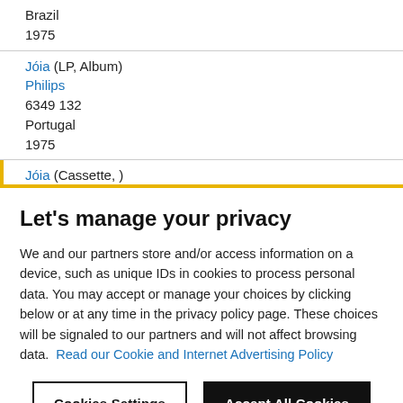Brazil
1975
Jóia (LP, Album)
Philips
6349 132
Portugal
1975
Jóia (Cassette, )
Philips
7128 113
Let's manage your privacy
We and our partners store and/or access information on a device, such as unique IDs in cookies to process personal data. You may accept or manage your choices by clicking below or at any time in the privacy policy page. These choices will be signaled to our partners and will not affect browsing data. Read our Cookie and Internet Advertising Policy
Cookies Settings
Accept All Cookies